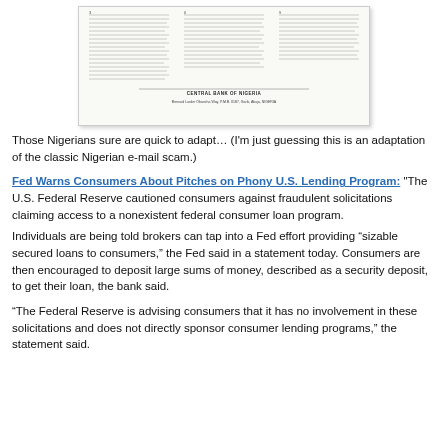[Figure (photo): Scanned document image appearing to be a Nigerian-style letter or fax, with multiple numbered paragraphs of small text and a 'CENTRAL BANK OF NIGERIA' heading at the bottom center.]
Those Nigerians sure are quick to adapt… (I'm just guessing this is an adaptation of the classic Nigerian e-mail scam.)
Fed Warns Consumers About Pitches on Phony U.S. Lending Program:
“The U.S. Federal Reserve cautioned consumers against fraudulent solicitations claiming access to a nonexistent federal consumer loan program.
Individuals are being told brokers can tap into a Fed effort providing “sizable secured loans to consumers,” the Fed said in a statement today. Consumers are then encouraged to deposit large sums of money, described as a security deposit, to get their loan, the bank said.
“The Federal Reserve is advising consumers that it has no involvement in these solicitations and does not directly sponsor consumer lending programs,” the statement said.